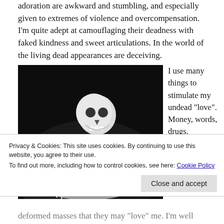adoration are awkward and stumbling, and especially given to extremes of violence and overcompensation. I'm quite adept at camouflaging their deadness with faked kindness and sweet articulations. In the world of the living dead appearances are deceiving.
[Figure (photo): Black and white photograph of a skeleton figure leaning over a reclining person, in a dark dramatic setting.]
I use many things to stimulate my undead “love”. Money, words, drugs,
Privacy & Cookies: This site uses cookies. By continuing to use this website, you agree to their use.
To find out more, including how to control cookies, see here: Cookie Policy
deformed masses that they may “love” me. I’m well